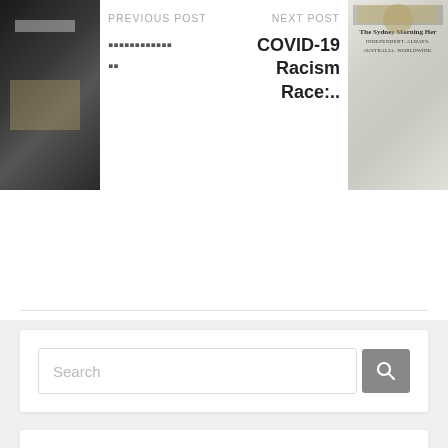PREVIOUS POST
▪▪▪▪▪▪▪▪▪▪▪▪ ▪▪
NEXT POST
COVID-19 Racism Race:..
Search
News Archive
Select Month